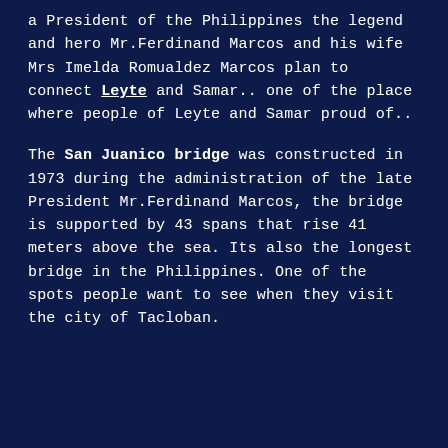a President of the Philippines the legend and hero Mr.Ferdinand Marcos and his wife Mrs Imelda Romualdez Marcos plan to connect Leyte and Samar.. one of the place where people of Leyte and Samar proud of..
The San Juanico bridge was constructed in 1973 during the administration of the late President Mr.Ferdinand Marcos, the bridge is supported by 43 spans that rise 41 meters above the sea. Its also the longest bridge in the Philippines. One of the spots people want to see when they visit the city of Tacloban.